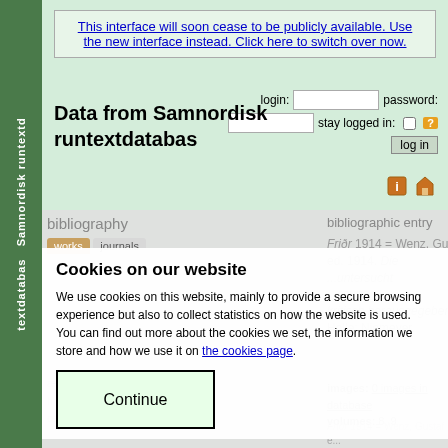[Figure (screenshot): Green vertical sidebar with rotated text 'Samnordisk runtextdatabas']
This interface will soon cease to be publicly available. Use the new interface instead. Click here to switch over now.
Data from Samnordisk runtextdatabas
login: [input] password: [input] stay logged in: [checkbox] [?] log in
bibliography
works  journals
bibliographic entry
Friðr 1914 = Wenz, Gustaf, ed. 1914. Die ... untersucht ... ssung kritisch herausgegeben. Halle: Niemeyer.
Cookies on our website
We use cookies on this website, mainly to provide a secure browsing experience but also to collect statistics on how the website is used. You can find out more about the cookies we set, the information we store and how we use it on the cookies page.
Continue
images: 0 images in database
volumes: 8, 9
Friðr 1914 = Wenz, Gustaf e... is referred to in: Friðr Lv.2, a...